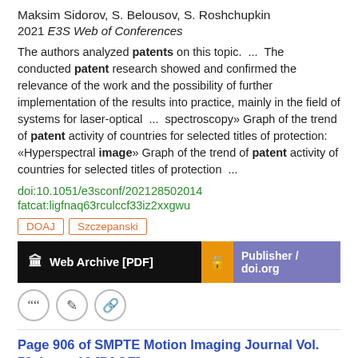Maksim Sidorov, S. Belousov, S. Roshchupkin
2021 E3S Web of Conferences
The authors analyzed patents on this topic.  ...  The conducted patent research showed and confirmed the relevance of the work and the possibility of further implementation of the results into practice, mainly in the field of systems for laser-optical  ...  spectroscopy» Graph of the trend of patent activity of countries for selected titles of protection: «Hyperspectral image» Graph of the trend of patent activity of countries for selected titles of protection  ...
doi:10.1051/e3sconf/202128502014
fatcat:ligfnaq63rculccf33iz2xxgwu
DOAJ
Szczepanski
Web Archive [PDF]
Publisher / doi.org
Page 906 of SMPTE Motion Imaging Journal Vol. 73, Issue 10 [PAGE]
1964 SMPTE Motion Imaging Journal
Skeer, patent classifiers in Division 92, and J. N. Pedersen, a